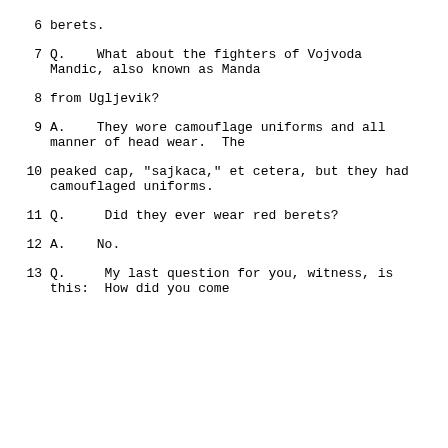6    berets.
7    Q.   What about the fighters of Vojvoda Mandic, also known as Manda
8    from Ugljevik?
9    A.   They wore camouflage uniforms and all manner of head wear.  The
10   peaked cap, "sajkaca," et cetera, but they had camouflaged uniforms.
11   Q.   Did they ever wear red berets?
12   A.   No.
13   Q.   My last question for you, witness, is this:  How did you come